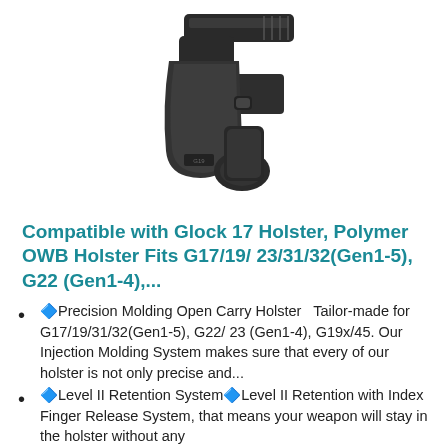[Figure (photo): A black polymer OWB (outside waistband) holster with a pistol inserted, shown from an angle. The holster has a paddle attachment and retention mechanism.]
Compatible with Glock 17 Holster, Polymer OWB Holster Fits G17/19/ 23/31/32(Gen1-5), G22 (Gen1-4),...
🔷Precision Molding Open Carry Holster   Tailor-made for G17/19/31/32(Gen1-5), G22/ 23 (Gen1-4), G19x/45. Our Injection Molding System makes sure that every of our holster is not only precise and...
🔷Level II Retention System🔷Level II Retention with Index Finger Release System, that means your weapon will stay in the holster without any